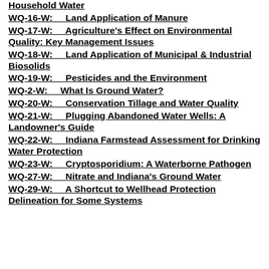Household Water
WQ-16-W:    Land Application of Manure
WQ-17-W:    Agriculture's Effect on Environmental Quality: Key Management Issues
WQ-18-W:    Land Application of Municipal & Industrial Biosolids
WQ-19-W:    Pesticides and the Environment
WQ-2-W:    What Is Ground Water?
WQ-20-W:    Conservation Tillage and Water Quality
WQ-21-W:    Plugging Abandoned Water Wells: A Landowner's Guide
WQ-22-W:    Indiana Farmstead Assessment for Drinking Water Protection
WQ-23-W:    Cryptosporidium: A Waterborne Pathogen
WQ-27-W:    Nitrate and Indiana's Ground Water
WQ-29-W:    A Shortcut to Wellhead Protection Delineation for Some Systems